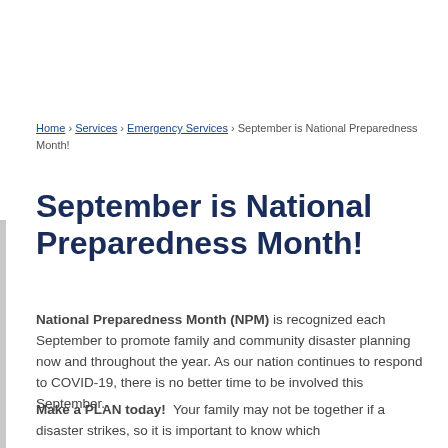Home › Services › Emergency Services › September is National Preparedness Month!
September is National Preparedness Month!
National Preparedness Month (NPM) is recognized each September to promote family and community disaster planning now and throughout the year. As our nation continues to respond to COVID-19, there is no better time to be involved this September.
Make a PLAN today!  Your family may not be together if a disaster strikes, so it is important to know which